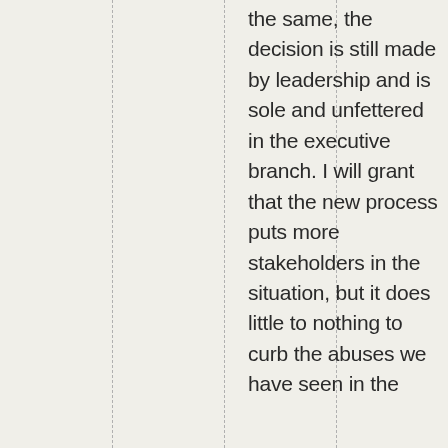the same, the decision is still made by leadership and is sole and unfettered in the executive branch. I will grant that the new process puts more stakeholders in the situation, but it does little to nothing to curb the abuses we have seen in the